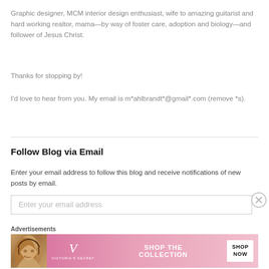Graphic designer, MCM interior design enthusiast, wife to amazing guitarist and hard working realtor, mama—by way of foster care, adoption and biology—and follower of Jesus Christ.
Thanks for stopping by!
I'd love to hear from you. My email is m*ahlbrandt*@gmail*.com (remove *s).
Follow Blog via Email
Enter your email address to follow this blog and receive notifications of new posts by email.
Enter your email address
Advertisements
[Figure (illustration): Victoria's Secret advertisement banner showing a woman's face on the left, VS logo in center-left, 'SHOP THE COLLECTION' text, and a 'SHOP NOW' button on the right, pink gradient background.]